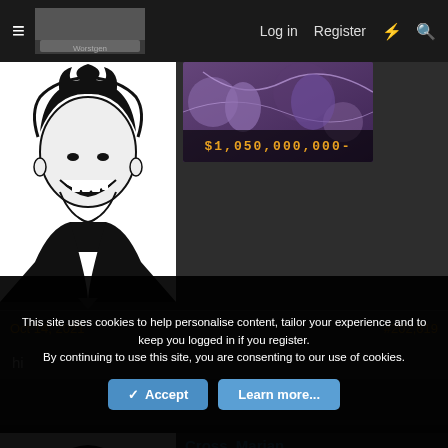≡  [logo]   Log in   Register   ⚡   🔍
[Figure (illustration): Black and white manga-style illustration of a male character with dark spiky hair, smiling with a wide grin, wearing a dark shirt]
[Figure (illustration): Colorful anime-style banner image with characters, overlaid with text showing bounty amount $1,050,000,000-]
Oct 14, 2021
#202,619
hi
Cross_Marian
[Figure (illustration): Black and white manga-style illustration of a female character with long dark hair covering her face]
[Figure (illustration): Colorful anime-style banner with fire and action scene]
This site uses cookies to help personalise content, tailor your experience and to keep you logged in if you register.
By continuing to use this site, you are consenting to our use of cookies.
✓ Accept   Learn more...